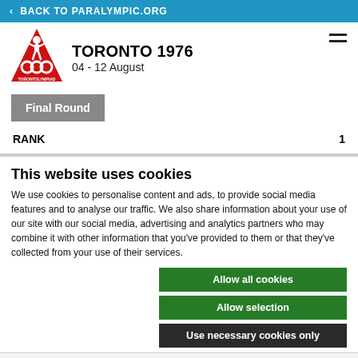< BACK TO PARALYMPIC.ORG
[Figure (logo): Toronto 1976 Paralympiad logo — red triangle with figure and rings]
TORONTO 1976
04 - 12 August
Final Round
RANK	1
This website uses cookies
We use cookies to personalise content and ads, to provide social media features and to analyse our traffic. We also share information about your use of our site with our social media, advertising and analytics partners who may combine it with other information that you've provided to them or that they've collected from your use of their services.
Allow all cookies
Allow selection
Use necessary cookies only
| Necessary | Preferences | Statistics | Show details |
| --- | --- | --- | --- |
| Marketing |  |  |  |
| NPC |  |  | FRU |